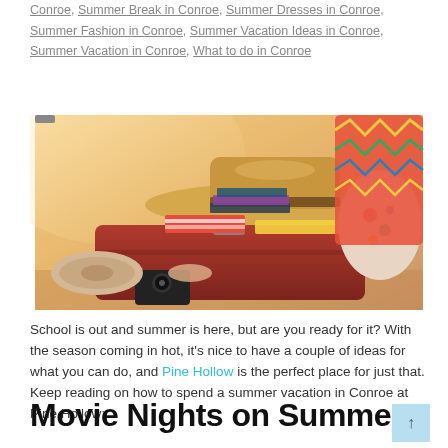Conroe, Summer Break in Conroe, Summer Dresses in Conroe, Summer Fashion in Conroe, Summer Vacation Ideas in Conroe, Summer Vacation in Conroe, What to do in Conroe
[Figure (photo): An open suitcase overflowing with colorful summer clothes, a straw hat, and travel items on a warm-toned background.]
School is out and summer is here, but are you ready for it? With the season coming in hot, it's nice to have a couple of ideas for what you can do, and Pine Hollow is the perfect place for just that. Keep reading on how to spend a summer vacation in Conroe at Pine Hollow:
Movie Nights on Summer